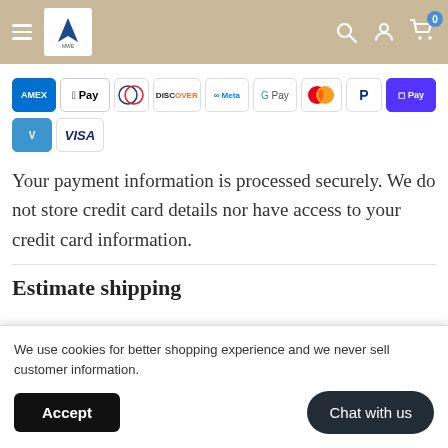Navigation header with logo, hamburger menu, search, account, and cart icons
[Figure (logo): Payment method icons: American Express, Apple Pay, Diners Club, Discover, Meta Pay, Google Pay, Mastercard, PayPal, Shop Pay, Venmo, Visa]
Your payment information is processed securely. We do not store credit card details nor have access to your credit card information.
Estimate shipping
We use cookies for better shopping experience and we never sell customer information.